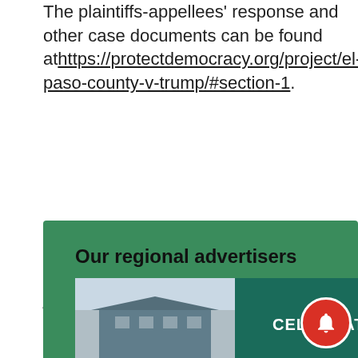The plaintiffs-appellees' response and other case documents can be found at https://protectdemocracy.org/project/el-paso-county-v-trump/#section-1.
Protect Democracy is a nonpartisan nonprofit organization dedicated to preventing American democracy from declining into a more authoritarian form of government.
Our regional advertisers
[Figure (photo): Photo of a building with a roof, partially visible, next to a teal panel with the word CELEBRATING in white text.]